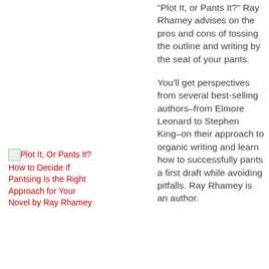“Plot It, or Pants It?” Ray Rhamey advises on the pros and cons of tossing the outline and writing by the seat of your pants.

You’ll get perspectives from several best-selling authors–from Elmore Leonard to Stephen King–on their approach to organic writing and learn how to successfully pants a first draft while avoiding pitfalls. Ray Rhamey is an author.
[Figure (illustration): Book cover placeholder image for Plot It, Or Pants It?]
Plot It, Or Pants It? How to Decide If Pantsing Is the Right Approach for Your Novel by Ray Rhamey